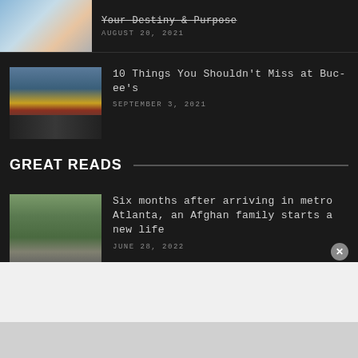[Figure (photo): Partially visible article thumbnail at top of page with strikethrough title text]
Your Destiny & Purpose
AUGUST 20, 2021
[Figure (photo): Photo of Buc-ee's store exterior with parking lot]
10 Things You Shouldn't Miss at Buc-ee's
SEPTEMBER 3, 2021
GREAT READS
[Figure (photo): Two children with backpacks walking in a parking lot]
Six months after arriving in metro Atlanta, an Afghan family starts a new life
JUNE 28, 2022
[Figure (photo): Partially visible photo of person indoors]
As Atlanta continues to grow, unhoused